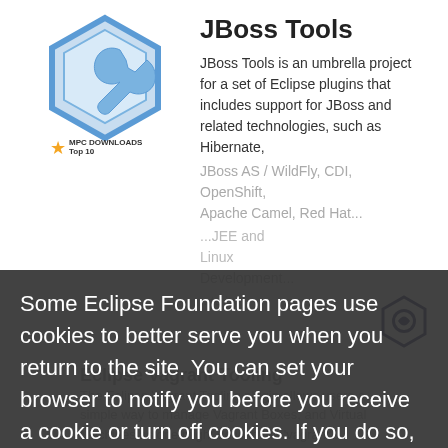JBoss Tools
JBoss Tools is an umbrella project for a set of Eclipse plugins that includes support for JBoss and related technologies, such as Hibernate, JBoss AS / WildFly, CDI, OpenShift, Apache Camel, Red Hat...
Some Eclipse Foundation pages use cookies to better serve you when you return to the site. You can set your browser to notify you before you receive a cookie or turn off cookies. If you do so, however, some areas of some sites may not function properly. To read Eclipse Foundation Privacy Policy
click here.
Decline
Allow cookies
Eclipse Vagrant Tooling
The Eclipse Vagrant Tooling plugin allows users a simple way to manage Vagrant Boxes, and Virtual Machines as one might do with the 'vagrant'